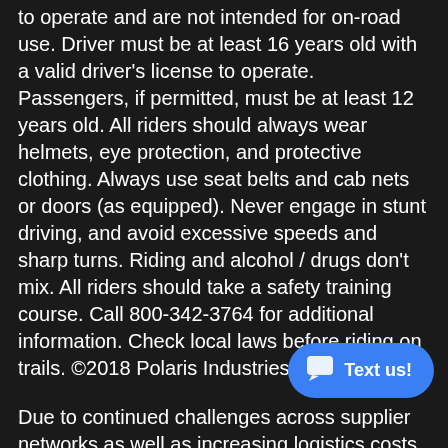to operate and are not intended for on-road use. Driver must be at least 16 years old with a valid driver's license to operate. Passengers, if permitted, must be at least 12 years old. All riders should always wear helmets, eye protection, and protective clothing. Always use seat belts and cab nets or doors (as equipped). Never engage in stunt driving, and avoid excessive speeds and sharp turns. Riding and alcohol / drugs don't mix. All riders should take a safety training course. Call 800-342-3764 for additional information. Check local laws before riding on trails. ©2018 Polaris Industries Inc.
Due to continued challenges across supplier networks as well as increasing logistics costs, product pricing, freight charges, specifications, and features are subject to change at any time without prior notice. Please confirm all information with your local dealership.
Price, if shown and unless otherwise noted, represents the Manufacturer's Suggested Retail